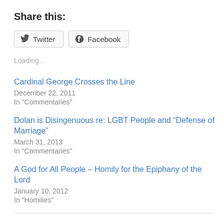Share this:
Twitter  Facebook
Loading...
Cardinal George Crosses the Line
December 22, 2011
In "Commentaries"
Dolan is Disingenuous re: LGBT People and “Defense of Marriage”
March 31, 2013
In "Commentaries"
A God for All People – Homily for the Epiphany of the Lord
January 10, 2012
In "Homilies"